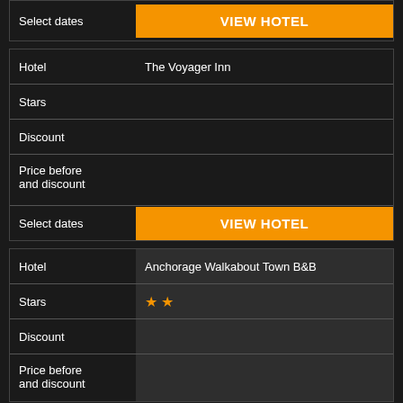| Label | Value |
| --- | --- |
| Select dates | VIEW HOTEL |
| Label | Value |
| --- | --- |
| Hotel | The Voyager Inn |
| Stars |  |
| Discount |  |
| Price before and discount |  |
| Select dates | VIEW HOTEL |
| Label | Value |
| --- | --- |
| Hotel | Anchorage Walkabout Town B&B |
| Stars | ★★ |
| Discount |  |
| Price before and discount |  |